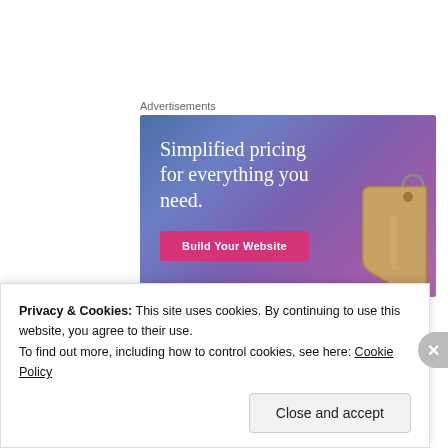Advertisements
[Figure (screenshot): Advertisement banner with blue-to-purple gradient background. Text reads 'Simplified pricing for everything you need.' with a pink 'Build Your Website' button and a price tag illustration on the right.]
If you would like to read a more positive (I'm not
[continuation cut off]
Privacy & Cookies: This site uses cookies. By continuing to use this website, you agree to their use.
To find out more, including how to control cookies, see here: Cookie Policy
Close and accept